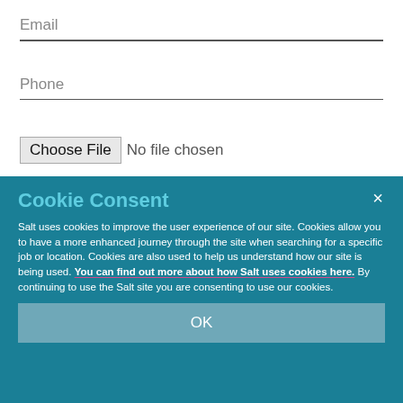Email
Phone
Choose File  No file chosen
Cookie Consent
Salt uses cookies to improve the user experience of our site. Cookies allow you to have a more enhanced journey through the site when searching for a specific job or location. Cookies are also used to help us understand how our site is being used. You can find out more about how Salt uses cookies here. By continuing to use the Salt site you are consenting to use our cookies.
OK